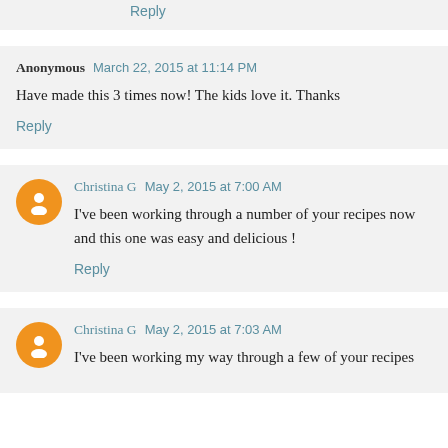Reply
Anonymous  March 22, 2015 at 11:14 PM
Have made this 3 times now! The kids love it. Thanks
Reply
Christina G  May 2, 2015 at 7:00 AM
I've been working through a number of your recipes now and this one was easy and delicious !
Reply
Christina G  May 2, 2015 at 7:03 AM
I've been working my way through a few of your recipes